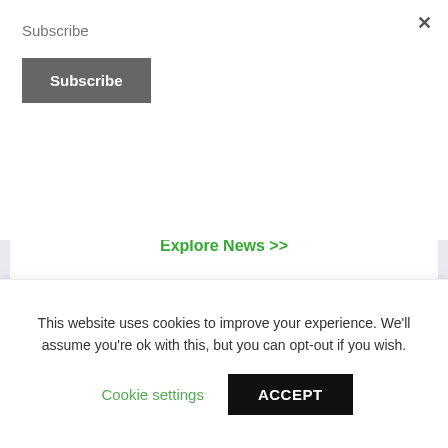Subscribe
Subscribe
Explore News >>
[Figure (screenshot): Motifworks ad banner: Azure Kubernetes Services (AKS) — Motifworks Inc. has Earned the Kubernetes on Microsoft Azure Advanced Specialization]
This website uses cookies to improve your experience. We'll assume you're ok with this, but you can opt-out if you wish.
Cookie settings
ACCEPT